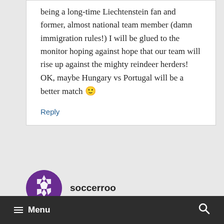being a long-time Liechtenstein fan and former, almost national team member (damn immigration rules!) I will be glued to the monitor hoping against hope that our team will rise up against the mighty reindeer herders! OK, maybe Hungary vs Portugal will be a better match 🙂
Reply
[Figure (logo): Soccerroo avatar: circular logo with purple and white geometric soccer ball pattern]
soccerroo
Menu  [search icon]